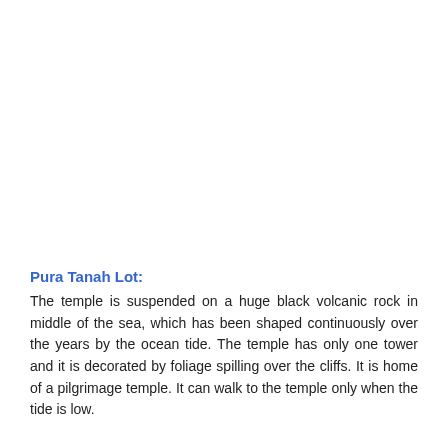Pura Tanah Lot:
The temple is suspended on a huge black volcanic rock in middle of the sea, which has been shaped continuously over the years by the ocean tide. The temple has only one tower and it is decorated by foliage spilling over the cliffs. It is home of a pilgrimage temple. It can walk to the temple only when the tide is low.